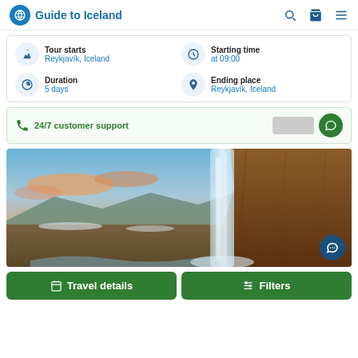Guide to Iceland
Tour starts
Reykjavík, Iceland
Starting time
at 09:00
Duration
5 days
Ending place
Reykjavík, Iceland
24/7 customer support
[Figure (photo): Scenic waterfall in Iceland with dramatic landscape at sunset, snow and rocky cliffs visible]
Travel details
Filters